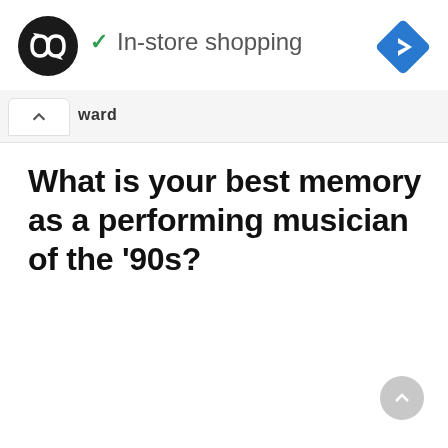[Figure (logo): Black circle logo with two overlapping infinity/loop arrows in white]
✓ In-store shopping
[Figure (illustration): Blue diamond-shaped navigation arrow icon pointing right]
▷
×
[Figure (screenshot): Tab area with up-arrow chevron pill tab and partially visible text 'ward']
What is your best memory as a performing musician of the '90s?
[Figure (illustration): Circular scroll-to-top button with upward arrow, gray]